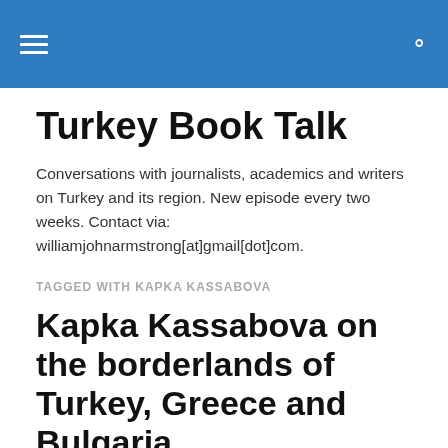Turkey Book Talk — navigation header
Turkey Book Talk
Conversations with journalists, academics and writers on Turkey and its region. New episode every two weeks. Contact via: williamjohnarmstrong[at]gmail[dot]com.
TAGGED WITH KAPKA KASSABOVA
Kapka Kassabova on the borderlands of Turkey, Greece and Bulgaria
Brand new Turkey Book Talk episode.